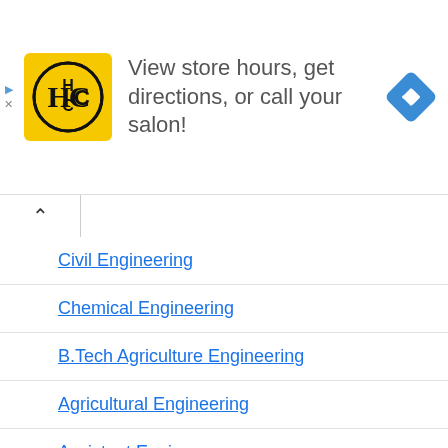[Figure (infographic): Advertisement banner for a hair salon (HC logo with yellow background) with text 'View store hours, get directions, or call your salon!' and a blue navigation/directions icon on the right.]
Civil Engineering
Chemical Engineering
B.Tech Agriculture Engineering
Agricultural Engineering
Assistant Engineer
Automobile Engineering
Bachelor in Engineering